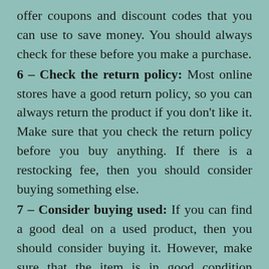offer coupons and discount codes that you can use to save money. You should always check for these before you make a purchase.
6 – Check the return policy: Most online stores have a good return policy, so you can always return the product if you don't like it. Make sure that you check the return policy before you buy anything. If there is a restocking fee, then you should consider buying something else.
7 – Consider buying used: If you can find a good deal on a used product, then you should consider buying it. However, make sure that the item is in good condition before you buy it.
8 – Use a credit card: Using a credit card can help you to build your credit history, and it will also give you some protection if the product is not as advertised.